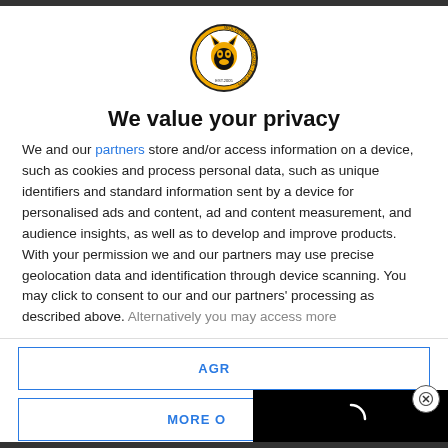[Figure (logo): Circular logo with wolf/fox head in gold and black, text around border, EST 2005]
We value your privacy
We and our partners store and/or access information on a device, such as cookies and process personal data, such as unique identifiers and standard information sent by a device for personalised ads and content, ad and content measurement, and audience insights, as well as to develop and improve products. With your permission we and our partners may use precise geolocation data and identification through device scanning. You may click to consent to our and our partners' processing as described above. Alternatively you may access more
AGRE
MORE O
[Figure (other): Black video overlay panel with white loading spinner]